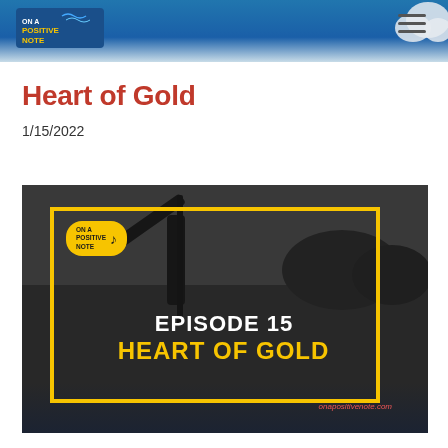On A Positive Note
Heart of Gold
1/15/2022
Comments
[Figure (screenshot): Podcast episode thumbnail for Episode 15: Heart of Gold from On A Positive Note. Black and white background photo of a person with a pole/stick raised in an outdoor field. Yellow rectangular border frame. Logo badge top-left. White bold text 'EPISODE 15' and yellow bold text 'HEART OF GOLD' in center. Red italic URL 'onapositivenote.com' at bottom right.]